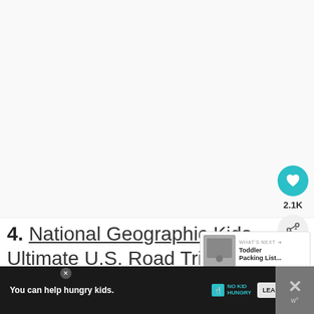[Figure (other): Large blank/white image placeholder area at the top of the page]
4. National Geographic Kids Ultimate U.S. Road Trip Atlas: An inexpensive and informative atlas that includes a page for each state and more. The
[Figure (screenshot): What's Next overlay panel showing a thumbnail and text 'Toddler Packing List...']
[Figure (other): Advertisement banner: 'You can help hungry kids. NO KID HUNGRY. LEARN HOW']